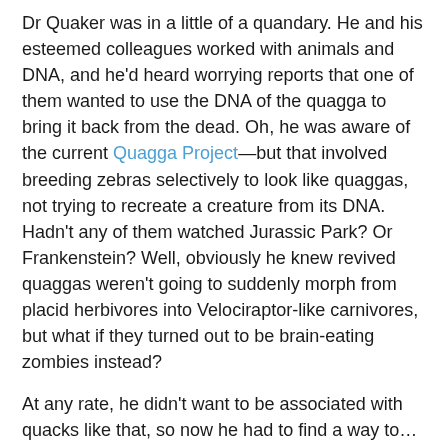Dr Quaker was in a little of a quandary. He and his esteemed colleagues worked with animals and DNA, and he'd heard worrying reports that one of them wanted to use the DNA of the quagga to bring it back from the dead. Oh, he was aware of the current Quagga Project—but that involved breeding zebras selectively to look like quaggas, not trying to recreate a creature from its DNA. Hadn't any of them watched Jurassic Park? Or Frankenstein? Well, obviously he knew revived quaggas weren't going to suddenly morph from placid herbivores into Velociraptor-like carnivores, but what if they turned out to be brain-eating zombies instead?
At any rate, he didn't want to be associated with quacks like that, so now he had to find a way to… find a new job, probably. Dr Quaker mulled over it for a long while before taking out his prized quill, dipping it into ink and writing a letter.
~
The new job in Australia was another whole new quagmire. He thought he'd been getting away from one job, but it seems...